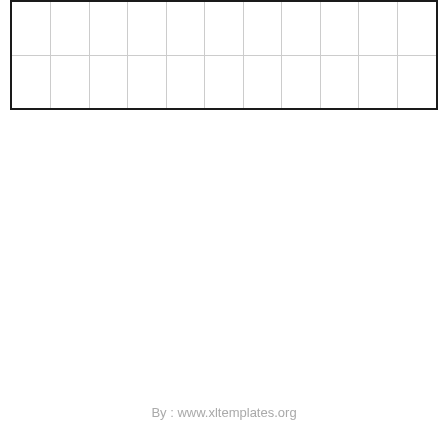|  |  |  |  |  |  |  |  |  |  |  |
|  |  |  |  |  |  |  |  |  |  |  |
By : www.xltemplates.org